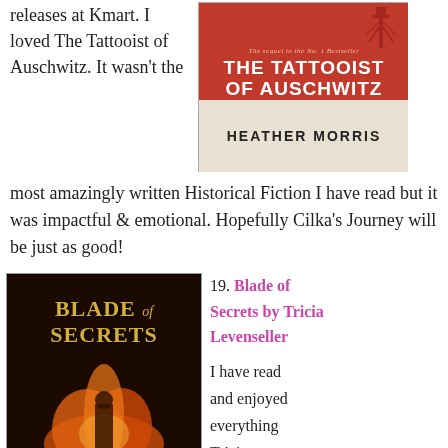releases at Kmart. I loved The Tattooist of Auschwitz. It wasn't the
[Figure (photo): Book cover of 'The Tattooist of Auschwitz' by Heather Morris. Red top half with title text and watchtower silhouette, beige bottom half with author name.]
most amazingly written Historical Fiction I have read but it was impactful & emotional. Hopefully Cilka's Journey will be just as good!
19. Blade of Secrets by Tricia Levenseller
[Figure (photo): Book cover of 'Blade of Secrets' with gold title text on dark background with fire/flame imagery.]
I have read and enjoyed everything Tricia Levenseller